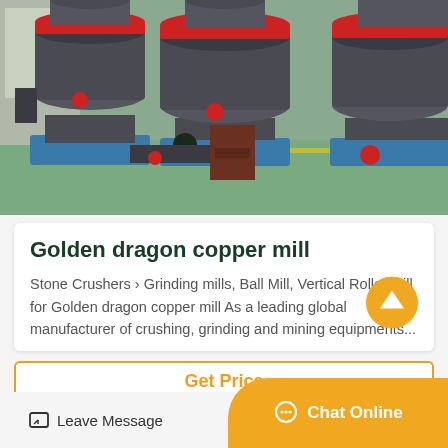[Figure (photo): Industrial cone crusher / grinding mill machines in a factory setting. Multiple large dark grey cylindrical machines with red trim and blue bases on a factory floor with green/teal flooring.]
Golden dragon copper mill
Stone Crushers › Grinding mills, Ball Mill, Vertical Roller Mill for Golden dragon copper mill As a leading global manufacturer of crushing, grinding and mining equipments...
Get Price
Leave Message
Chat Online